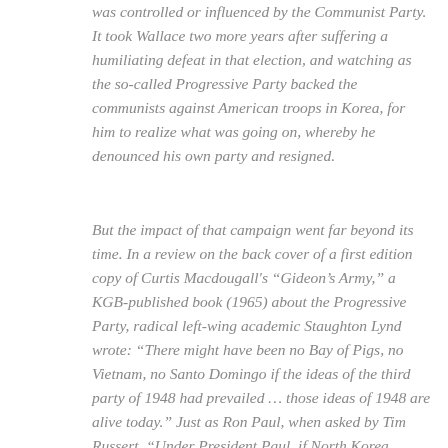was controlled or influenced by the Communist Party. It took Wallace two more years after suffering a humiliating defeat in that election, and watching as the so-called Progressive Party backed the communists against American troops in Korea, for him to realize what was going on, whereby he denounced his own party and resigned.
But the impact of that campaign went far beyond its time. In a review on the back cover of a first edition copy of Curtis Macdougall's "Gideon's Army," a KGB-published book (1965) about the Progressive Party, radical left-wing academic Staughton Lynd wrote: "There might have been no Bay of Pigs, no Vietnam, no Santo Domingo if the ideas of the third party of 1948 had prevailed … those ideas of 1948 are alive today." Just as Ron Paul, when asked by Tim Russert, "Under President Paul, if North Korea invaded South Korea, would we respond?" Paul promised he would not have. "Why should we unless the Congress declared war?" responded Paul. "I mean, why are we there? South Korea, they're begging and pleading to unify